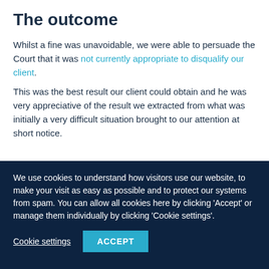The outcome
Whilst a fine was unavoidable, we were able to persuade the Court that it was not currently appropriate to disqualify our client.
This was the best result our client could obtain and he was very appreciative of the result we extracted from what was initially a very difficult situation brought to our attention at short notice.
We use cookies to understand how visitors use our website, to make your visit as easy as possible and to protect our systems from spam. You can allow all cookies here by clicking 'Accept' or manage them individually by clicking 'Cookie settings'.
Cookie settings
ACCEPT